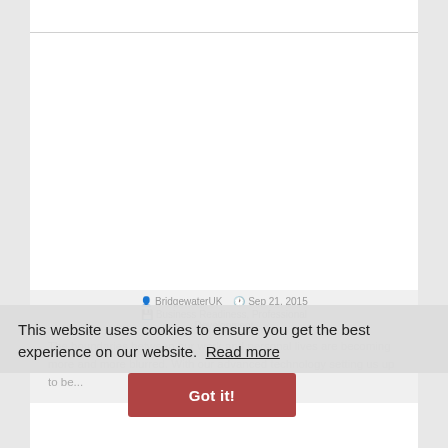BridgewaterUK   Sep 21, 2015
Business Readiness, Professional Development
The boundaries between our work and personal lives are becoming more and more blurred. With our advanced technology setting us up to be...
This website uses cookies to ensure you get the best experience on our website.  Read more
Got it!